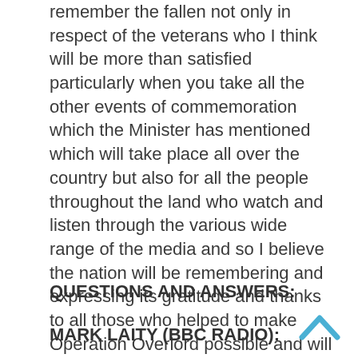remember the fallen not only in respect of the veterans who I think will be more than satisfied particularly when you take all the other events of commemoration which the Minister has mentioned which will take place all over the country but also for all the people throughout the land who watch and listen through the various wide range of the media and so I believe the nation will be remembering and expressing its gratitude and thanks to all those who helped to make Operation Overlord possible and will be doing it in a truly fitting and proud manner.
QUESTIONS AND ANSWERS:
MARK LAITY (BBC RADIO):